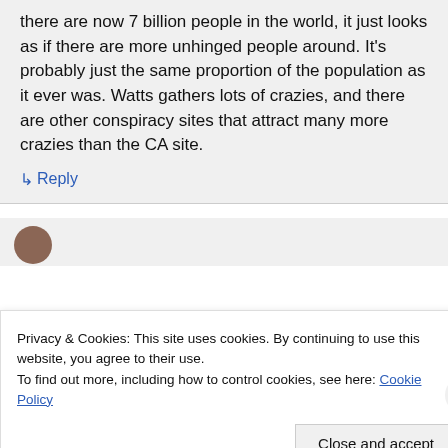there are now 7 billion people in the world, it just looks as if there are more unhinged people around. It's probably just the same proportion of the population as it ever was. Watts gathers lots of crazies, and there are other conspiracy sites that attract many more crazies than the CA site.
↳ Reply
Privacy & Cookies: This site uses cookies. By continuing to use this website, you agree to their use.
To find out more, including how to control cookies, see here: Cookie Policy
Close and accept